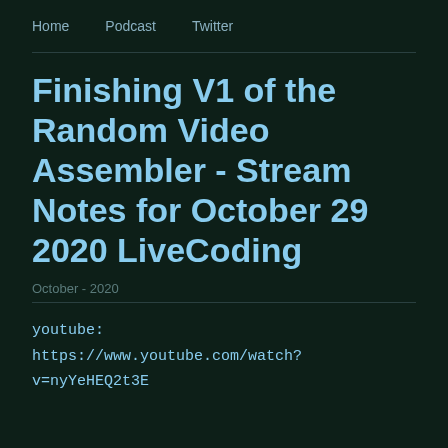Home   Podcast   Twitter
Finishing V1 of the Random Video Assembler - Stream Notes for October 29 2020 LiveCoding
October - 2020
youtube:
https://www.youtube.com/watch?v=nyYeHEQ2t3E